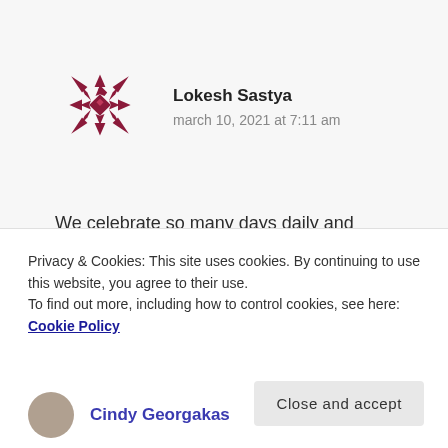[Figure (illustration): Geometric snowflake/star avatar icon in dark red/maroon color]
Lokesh Sastya
march 10, 2021 at 7:11 am
We celebrate so many days daily and regularly it is not working. Perhaps direct help and support work better. Direct solutions and providing more opportunities is our need.
Privacy & Cookies: This site uses cookies. By continuing to use this website, you agree to their use.
To find out more, including how to control cookies, see here: Cookie Policy
Close and accept
Cindy Georgakas